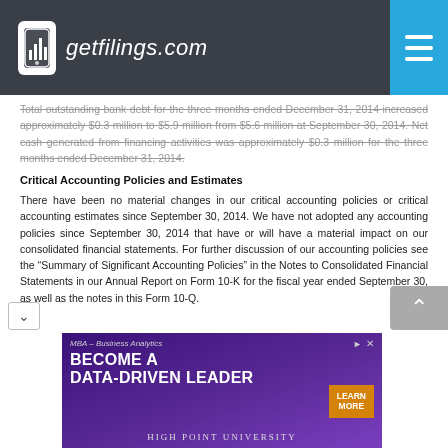getfilings.com
Total outstanding bank debt for the three months ended December 31, 2014 increased approximately $0.3 million to $5.9 million from $5.6 million at September 30, 2014. Net cash generated from financing activities was approximately $0.3 million for the three months ended December 31, 2014.
Critical Accounting Policies and Estimates
There have been no material changes in our critical accounting policies or critical accounting estimates since September 30, 2014. We have not adopted any accounting policies since September 30, 2014 that have or will have a material impact on our consolidated financial statements. For further discussion of our accounting policies see the “Summary of Significant Accounting Policies” in the Notes to Consolidated Financial Statements in our Annual Report on Form 10-K for the fiscal year ended September 30, as well as the notes in this Form 10-Q.
[Figure (other): MBA Business Analytics advertisement for High Point University - Become a Data-Driven Leader]